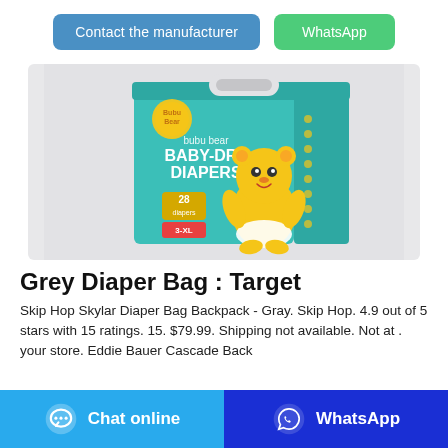[Figure (screenshot): Top navigation bar with two buttons: 'Contact the manufacturer' (blue) and 'WhatsApp' (green)]
[Figure (photo): Product image of Bubu Bear Baby-Dry Diapers package, teal/turquoise colored box with a cartoon bear character, showing '28 diapers' count on the front]
Grey Diaper Bag : Target
Skip Hop Skylar Diaper Bag Backpack - Gray. Skip Hop. 4.9 out of 5 stars with 15 ratings. 15. $79.99. Shipping not available. Not at . your store. Eddie Bauer Cascade Back
[Figure (screenshot): Bottom bar with two buttons: 'Chat online' (light blue with chat bubble icon) and 'WhatsApp' (dark blue with WhatsApp icon)]